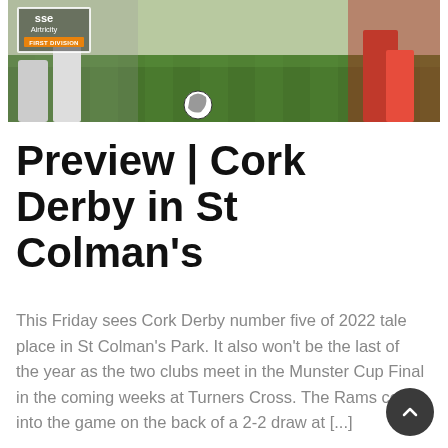[Figure (photo): Soccer/football action photo showing player legs on a green grass pitch with an SSE Airtricity First Division logo overlay in the top left corner]
Preview | Cork Derby in St Colman's
This Friday sees Cork Derby number five of 2022 tale place in St Colman's Park. It also won't be the last of the year as the two clubs meet in the Munster Cup Final in the coming weeks at Turners Cross. The Rams come into the game on the back of a 2-2 draw at [...]